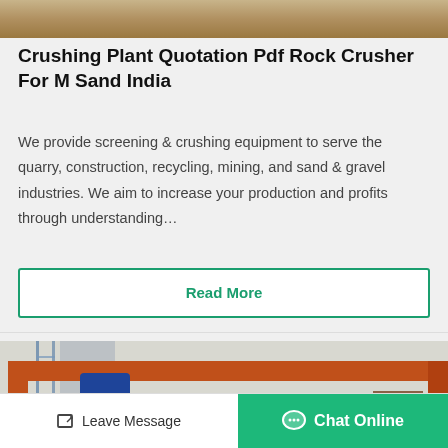[Figure (photo): Top strip of an industrial machine image, partially cropped]
Crushing Plant Quotation Pdf Rock Crusher For M Sand India
We provide screening & crushing equipment to serve the quarry, construction, recycling, mining, and sand & gravel industries. We aim to increase your production and profits through understanding…
Read More
[Figure (photo): Industrial crushing plant machinery with orange crane structure and blue machine body, scaffolding visible on the left side]
Leave Message
Chat Online